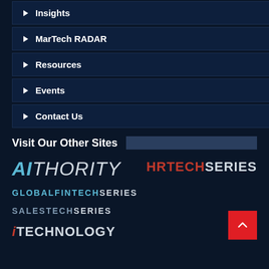Insights
MarTech RADAR
Resources
Events
Contact Us
Visit Our Other Sites
[Figure (logo): AIthority logo - AI in cyan italic, THORITY in light grey italic]
[Figure (logo): HRTECHSERIES logo - HR in red, TECHSERIES in light grey]
[Figure (logo): GLOBALFINTECHSERIES logo - GLOBALFINTECH in cyan, SERIES in light grey]
[Figure (logo): SALESTECHSERIES logo - SALESTECH in grey-blue, SERIES in light grey]
[Figure (logo): iTECHNOLOGY logo - i in red italic, TECHNOLOGY in light grey]